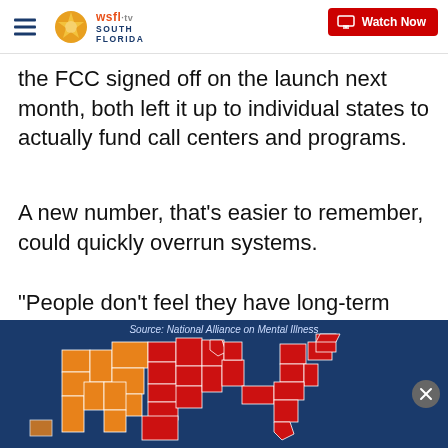WSFL-TV South Florida — Watch Now
the FCC signed off on the launch next month, both left it up to individual states to actually fund call centers and programs.
A new number, that's easier to remember, could quickly overrun systems.
"People don't feel they have long-term financing in place," Holliday said.
[Figure (map): Map of the United States showing states color-coded in red and orange, sourced from National Alliance on Mental Illness. States in the northern/midwest and northeast regions appear in red, while western states appear in orange.]
Source: National Alliance on Mental Illness